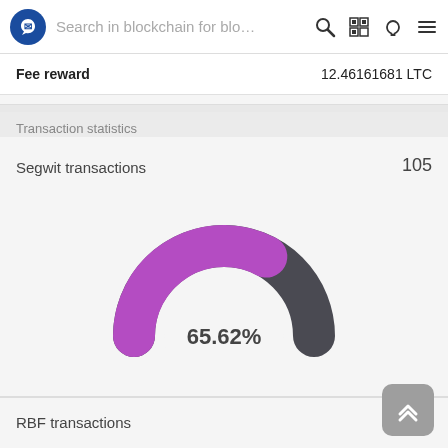Search in blockchain for blo…
Fee reward  12.46161681 LTC
Transaction statistics
Segwit transactions
105
[Figure (donut-chart): Segwit transactions]
RBF transactions